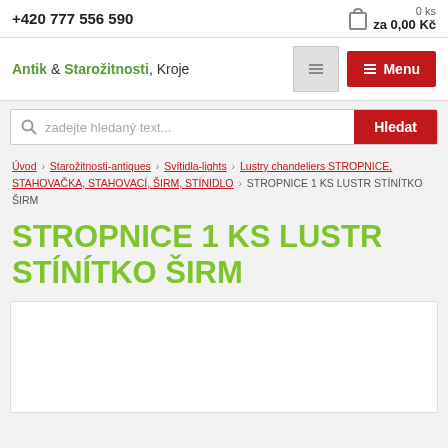+420 777 556 590
0 ks za 0,00 Kč
Antik & Starožitnosti, Kroje
Menu
zadejte hledaný text...
Hledat
Úvod › Starožitnosti-antiques › Svítidla-lights › Lustry chandeliers STROPNICE, STAHOVAČKA, STAHOVACÍ, ŠIRM, STÍNIDLO › STROPNICE 1 KS LUSTR STÍNÍTKO ŠIRM
STROPNICE 1 KS LUSTR STÍNÍTKO ŠIRM
[Figure (photo): White empty product image area]